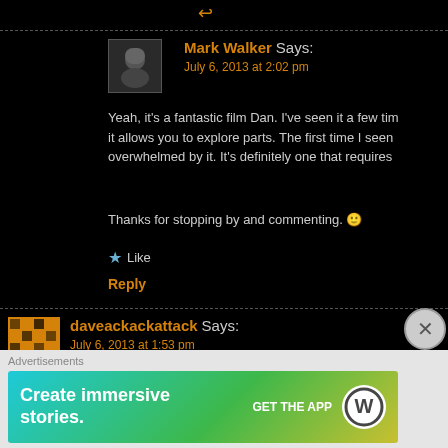↩
Mark Walker Says: July 6, 2013 at 2:02 pm
Yeah, it's a fantastic film Dan. I've seen it a few times and each time it allows you to explore parts. The first time I seen it I was quite overwhelmed by it. It's definitely one that requires…
Thanks for stopping by and commenting. 🙂
★ Like
Reply
daveackackattack Says: July 6, 2013 at 1:53 pm
I remember going to see this in a theater. Quite trippy. Loved it but it came off as slightly pretentious. That's just me. Interestingly A Scanner Darkly Linklater said he'd never do a rotoscope movie again due to the work it takes to put it up on screen. It's a shame he stained his career with the remake of The Bad News Bears. Really looking forward to s…
★ Like
Advertisements
[Figure (screenshot): WordPress advertisement banner: 'Create immersive stories. GET THE APP' with WordPress logo]